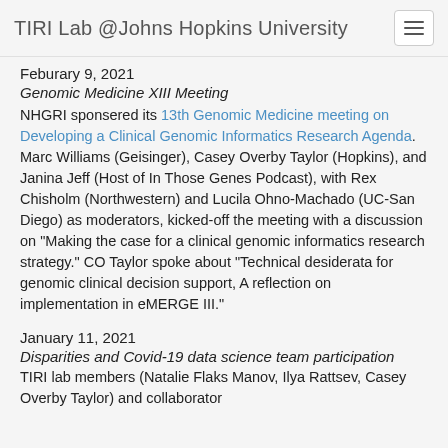TIRI Lab @Johns Hopkins University
Feburary 9, 2021
Genomic Medicine XIII Meeting
NHGRI sponsered its 13th Genomic Medicine meeting on Developing a Clinical Genomic Informatics Research Agenda. Marc Williams (Geisinger), Casey Overby Taylor (Hopkins), and Janina Jeff (Host of In Those Genes Podcast), with Rex Chisholm (Northwestern) and Lucila Ohno-Machado (UC-San Diego) as moderators, kicked-off the meeting with a discussion on "Making the case for a clinical genomic informatics research strategy." CO Taylor spoke about "Technical desiderata for genomic clinical decision support, A reflection on implementation in eMERGE III."
January 11, 2021
Disparities and Covid-19 data science team participation
TIRI lab members (Natalie Flaks Manov, Ilya Rattsev, Casey Overby Taylor) and collaborator